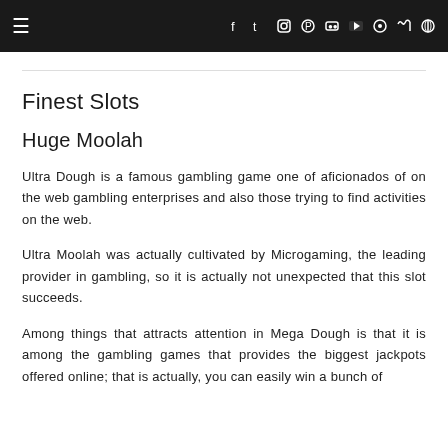≡  f  t  inst  p  flickr  yt  snap  rss  🔍
Finest Slots
Huge Moolah
Ultra Dough is a famous gambling game one of aficionados of on the web gambling enterprises and also those trying to find activities on the web.
Ultra Moolah was actually cultivated by Microgaming, the leading provider in gambling, so it is actually not unexpected that this slot succeeds.
Among things that attracts attention in Mega Dough is that it is among the gambling games that provides the biggest jackpots offered online; that is actually, you can easily win a bunch of